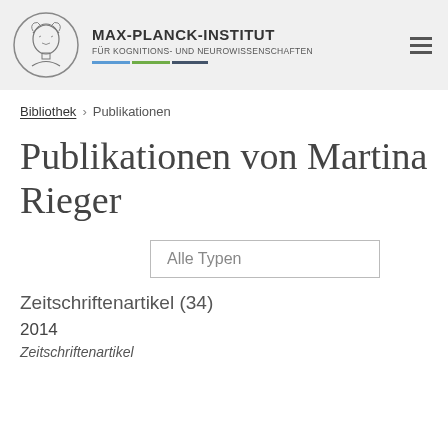[Figure (logo): Max-Planck-Institut logo with circular emblem, institute name MAX-PLANCK-INSTITUT, subtitle FÜR KOGNITIONS- UND NEUROWISSENSCHAFTEN, colored bars, and hamburger menu icon]
Bibliothek > Publikationen
Publikationen von Martina Rieger
Alle Typen
Zeitschriftenartikel (34)
2014
Zeitschriftenartikel